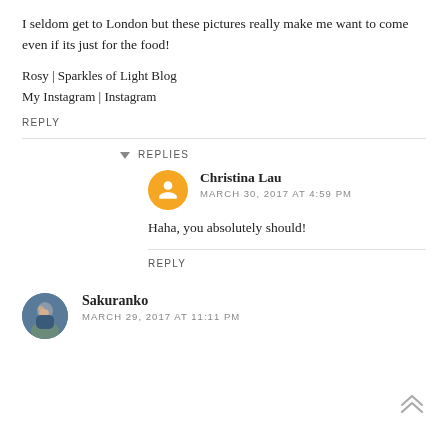I seldom get to London but these pictures really make me want to come even if its just for the food!
Rosy | Sparkles of Light Blog
My Instagram | Instagram
REPLY
▾ REPLIES
Christina Lau
MARCH 30, 2017 AT 4:59 PM
Haha, you absolutely should!
REPLY
Sakuranko
MARCH 29, 2017 AT 11:11 PM